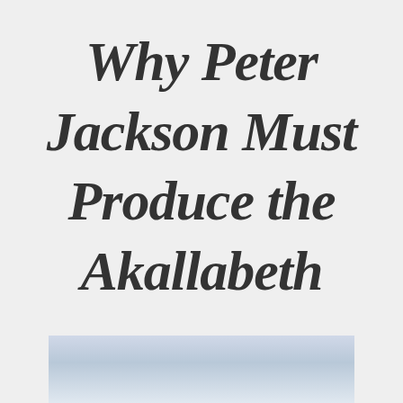Why Peter Jackson Must Produce the Akallabeth
[Figure (photo): Landscape photo showing a misty or cloudy scene, likely mountains or ocean, with light blue-grey tones]